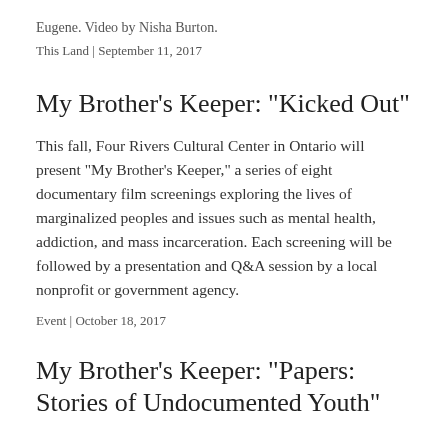Eugene. Video by Nisha Burton.
This Land | September 11, 2017
My Brother's Keeper: "Kicked Out"
This fall, Four Rivers Cultural Center in Ontario will present "My Brother's Keeper," a series of eight documentary film screenings exploring the lives of marginalized peoples and issues such as mental health, addiction, and mass incarceration. Each screening will be followed by a presentation and Q&A session by a local nonprofit or government agency.
Event | October 18, 2017
My Brother's Keeper: "Papers: Stories of Undocumented Youth"